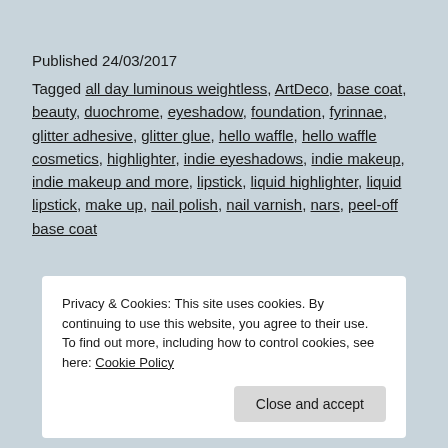Published 24/03/2017
Tagged all day luminous weightless, ArtDeco, base coat, beauty, duochrome, eyeshadow, foundation, fyrinnae, glitter adhesive, glitter glue, hello waffle, hello waffle cosmetics, highlighter, indie eyeshadows, indie makeup, indie makeup and more, lipstick, liquid highlighter, liquid lipstick, make up, nail polish, nail varnish, nars, peel-off base coat
Privacy & Cookies: This site uses cookies. By continuing to use this website, you agree to their use.
To find out more, including how to control cookies, see here: Cookie Policy
Close and accept